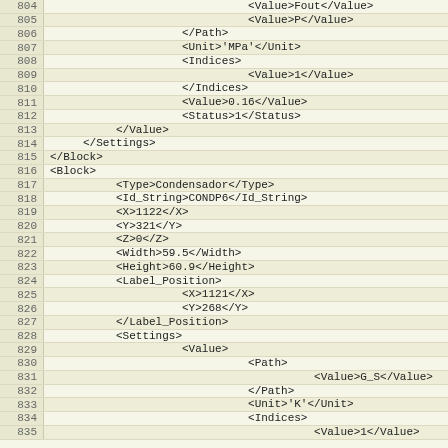XML code listing lines 804-835 showing Block/Settings/Value/Path/Unit/Indices XML structure for engineering simulation configuration